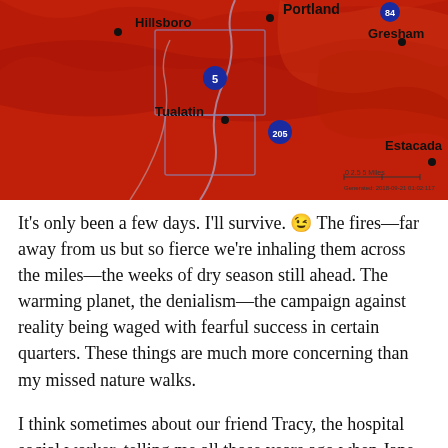[Figure (map): A red-tinted topographic/weather map of the Portland, Oregon metro area showing cities including Hillsboro, Portland, Gresham, Tualatin, and Estacada. Interstate highways 5, 84, and 205 are marked. The entire map is colored in red/orange tones indicating poor air quality. Scale bar and timestamp visible in lower right: 'Generated: 2018-09-21 01:02:117'.]
It's only been a few days. I'll survive. 😉 The fires—far away from us but so fierce we're inhaling them across the miles—the weeks of dry season still ahead. The warming planet, the denialism—the campaign against reality being waged with fearful success in certain quarters. These things are much more concerning than my missed nature walks.
I think sometimes about our friend Tracy, the hospital social worker, telling me all those years ago when Jane